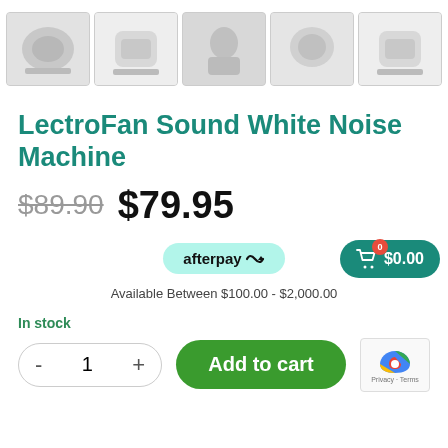[Figure (photo): Row of 5 product thumbnail images of LectroFan Sound White Noise Machine from various angles and lifestyle shots]
LectroFan Sound White Noise Machine
$89.90 $79.95
[Figure (logo): Afterpay badge with logo and arrow icon, teal/mint background]
Available Between $100.00 - $2,000.00
In stock
- 1 + Add to cart